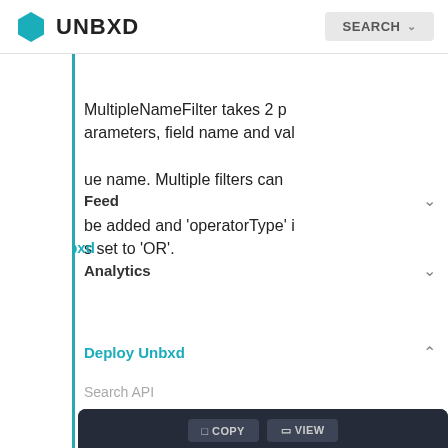UNBXD — SEARCH
MultipleNameFilter takes 2 parameters, field name and value name. Multiple filters can be added and 'operatorType' is set to 'OR'.
Feed
Analytics
Deploy Unbxd
Search API
[Figure (screenshot): Code block with dark background showing Java/Kotlin code: var nameFilters = ArrayList() nameFilters.add(NameFilter("vColor_uFilter", "Black")) nameFilters.add(NameFilter("vColor_uFilter", "White")) val categoryPath = CategoryPath(arrayOf("FA", "FA0484"))]
Android SDK
System Requirements